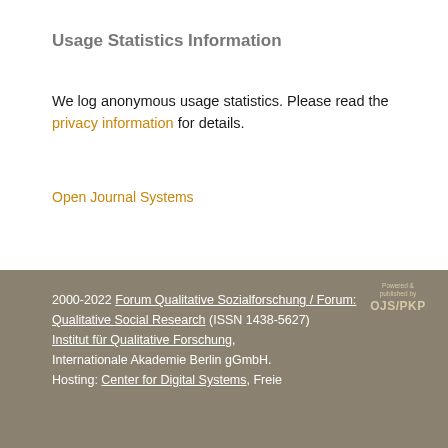Usage Statistics Information
We log anonymous usage statistics. Please read the privacy information for details.
Open Journal Systems
2000-2022 Forum Qualitative Sozialforschung / Forum: Qualitative Social Research (ISSN 1438-5627) Institut für Qualitative Forschung, Internationale Akademie Berlin gGmbH. Hosting: Center for Digital Systems, Freie